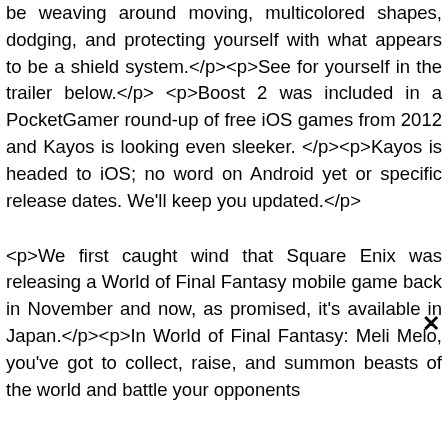be weaving around moving, multicolored shapes, dodging, and protecting yourself with what appears to be a shield system.</p><p>See for yourself in the trailer below.</p><p>Boost 2 was included in a PocketGamer round-up of free iOS games from 2012 and Kayos is looking even sleeker.</p><p>Kayos is headed to iOS; no word on Android yet or specific release dates. We'll keep you updated.</p>
<p>We first caught wind that Square Enix was releasing a World of Final Fantasy mobile game back in November and now, as promised, it's available in Japan.</p><p>In World of Final Fantasy: Meli Melo, you've got to collect, raise, and summon beasts of the world and battle your opponents